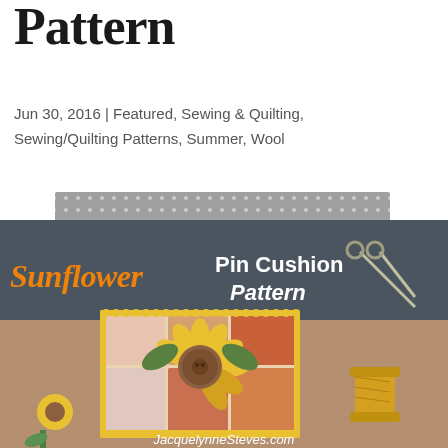Pattern
Jun 30, 2016 | Featured, Sewing & Quilting, Sewing/Quilting Patterns, Summer, Wool
[Figure (photo): Sunflower Pin Cushion Pattern product photo showing a handmade patchwork pin cushion with a wool sunflower applique, yellow pom-pom trim, placed on burlap with sunflowers and a spool of yellow thread, with text overlay reading 'Sunflower Pin Cushion Pattern' and website 'JacquelynneSteves.com'. A gray polka dot fabric strip appears at the top.]